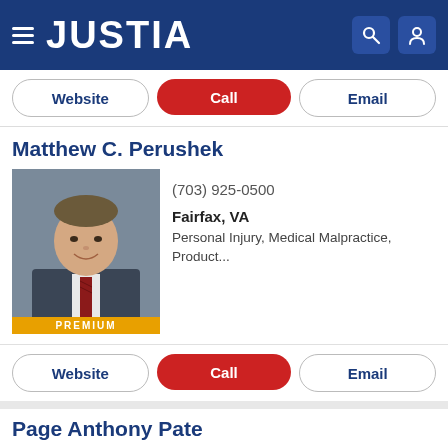JUSTIA
Website | Call | Email
Matthew C. Perushek
[Figure (photo): Professional headshot of Matthew C. Perushek in a dark suit with a red striped tie, PREMIUM badge at bottom]
(703) 925-0500
Fairfax, VA
Personal Injury, Medical Malpractice, Product...
Website | Call | Email
Page Anthony Pate
[Figure (photo): Professional headshot of Page Anthony Pate in a light suit]
(703) 420-3300
Alexandria, VA
Criminal Law, Appeals & Appellate, White Coll...